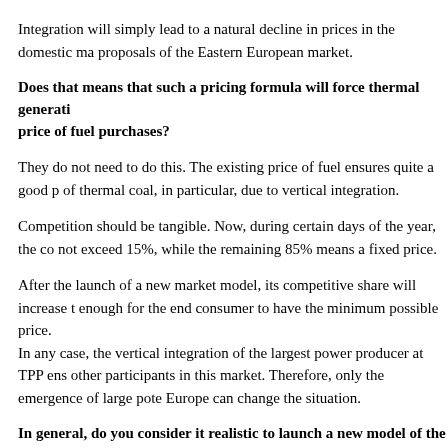Integration will simply lead to a natural decline in prices in the domestic market proposals of the Eastern European market.
Does that means that such a pricing formula will force thermal generation to reduce the price of fuel purchases?
They do not need to do this. The existing price of fuel ensures quite a good position of thermal coal, in particular, due to vertical integration.
Competition should be tangible. Now, during certain days of the year, the competitive share does not exceed 15%, while the remaining 85% means a fixed price.
After the launch of a new market model, its competitive share will increase to a level enough for the end consumer to have the minimum possible price.
In any case, the vertical integration of the largest power producer at TPP ensures an advantage over other participants in this market. Therefore, only the emergence of large potential players from Europe can change the situation.
In general, do you consider it realistic to launch a new model of the electricity market?
On one hand, as developers of a significant part of the documents, we definitely see no problems with the launch of the market in time. From our side, everything requires high activity from the regulator, the Ministry of Energy and Coal Industry, the